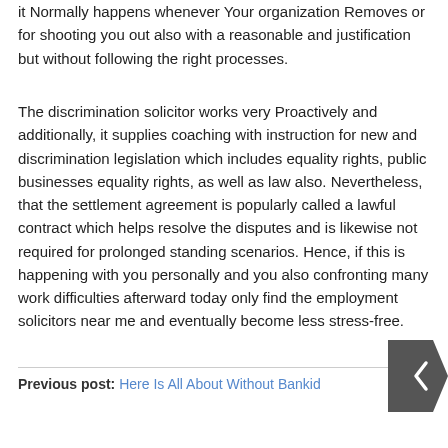it Normally happens whenever Your organization Removes or for shooting you out also with a reasonable and justification but without following the right processes.
The discrimination solicitor works very Proactively and additionally, it supplies coaching with instruction for new and discrimination legislation which includes equality rights, public businesses equality rights, as well as law also. Nevertheless, that the settlement agreement is popularly called a lawful contract which helps resolve the disputes and is likewise not required for prolonged standing scenarios. Hence, if this is happening with you personally and you also confronting many work difficulties afterward today only find the employment solicitors near me and eventually become less stress-free.
Previous post: Here Is All About Without Bankid